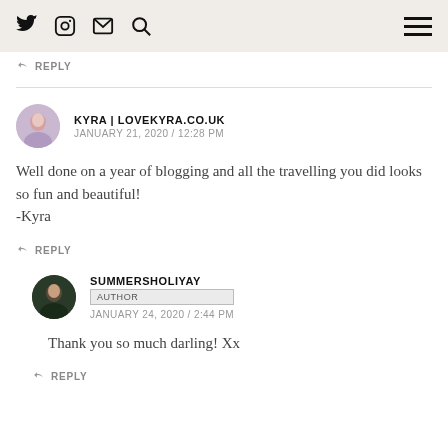Twitter Instagram Email Search [hamburger menu]
REPLY
KYRA | LOVEKYRA.CO.UK
JANUARY 21, 2020 / 12:28 PM
Well done on a year of blogging and all the travelling you did looks so fun and beautiful!
-Kyra
REPLY
SUMMERSHOLIYAY
AUTHOR
JANUARY 24, 2020 / 2:44 PM
Thank you so much darling! Xx
REPLY